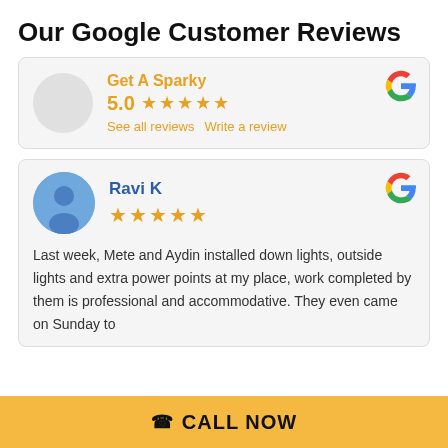Our Google Customer Reviews
Get A Sparky
5.0 ★★★★★
See all reviews   Write a review
Ravi K
★★★★★
Last week, Mete and Aydin installed down lights, outside lights and extra power points at my place, work completed by them is professional and accommodative. They even came on Sunday to
☎ CALL NOW